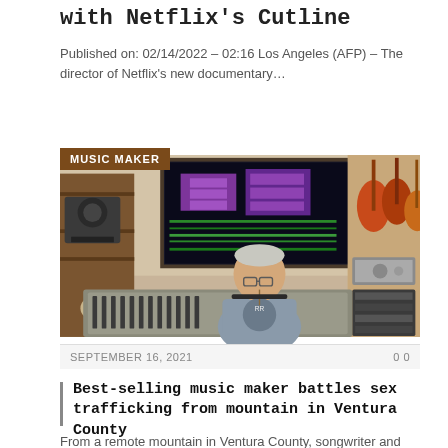with Netflix's Cutline
Published on: 02/14/2022 – 02:16 Los Angeles (AFP) – The director of Netflix's new documentary…
[Figure (photo): Man sitting at a recording studio mixing board surrounded by guitars and audio equipment, with a large monitor showing a DAW interface. Badge reads MUSIC MAKER.]
SEPTEMBER 16, 2021     0 0
Best-selling music maker battles sex trafficking from mountain in Ventura County
From a remote mountain in Ventura County, songwriter and music producer Gary Miller makes music…